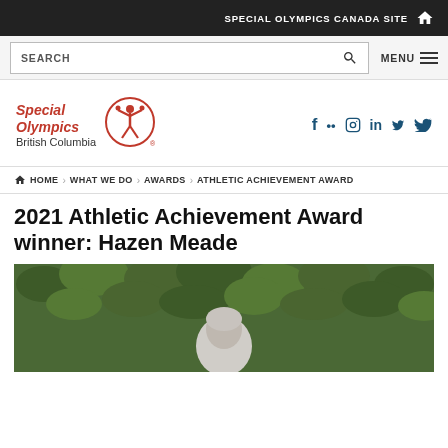SPECIAL OLYMPICS CANADA SITE
SEARCH | MENU
[Figure (logo): Special Olympics British Columbia logo with red emblem]
f .. in y ▶ (social media icons)
HOME › WHAT WE DO › AWARDS › ATHLETIC ACHIEVEMENT AWARD
2021 Athletic Achievement Award winner: Hazen Meade
[Figure (photo): Outdoor photo of Hazen Meade standing in front of green leafy shrubs]